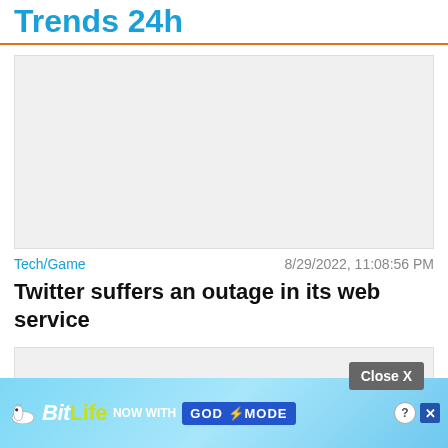Trends 24h
[Figure (other): Advertisement placeholder block (light gray rectangle)]
Tech/Game    8/29/2022, 11:08:56 PM
Twitter suffers an outage in its web service
[Figure (other): Advertisement placeholder block (light gray rectangle)]
[Figure (other): BitLife advertisement banner — NOW WITH GOD MODE]
Close X